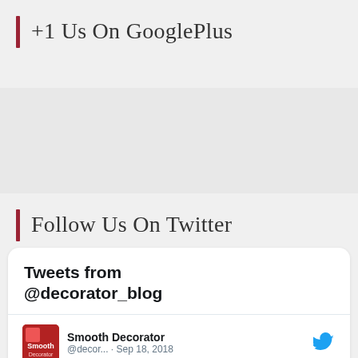+1 Us On GooglePlus
Follow Us On Twitter
[Figure (screenshot): Embedded Twitter widget showing tweets from @decorator_blog. Contains a tweet by Smooth Decorator (@decor...) dated Sep 18, 2018: 'I just voted for @sa_decor in the Amara Interior Blog Awards! Cast your vote now... interiorblogawards.com/vote/marcia-lo...']